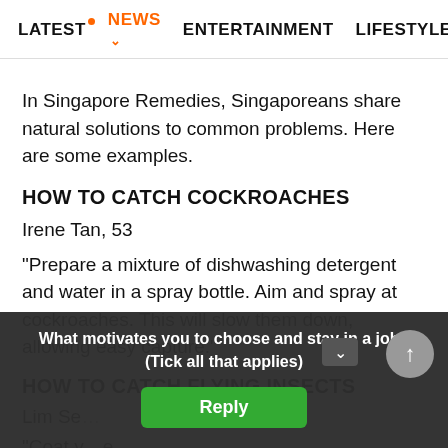LATEST  NEWS  ENTERTAINMENT  LIFESTYLE  EC
In Singapore Remedies, Singaporeans share natural solutions to common problems. Here are some examples.
HOW TO CATCH COCKROACHES
Irene Tan, 53
"Prepare a mixture of dishwashing detergent and water in a spray bottle. Aim and spray at cockroaches. This will slow them down, allowing easy capture."
HOW TO CATCH FLYING INSECTS
Lim Se...
"Coat y...e